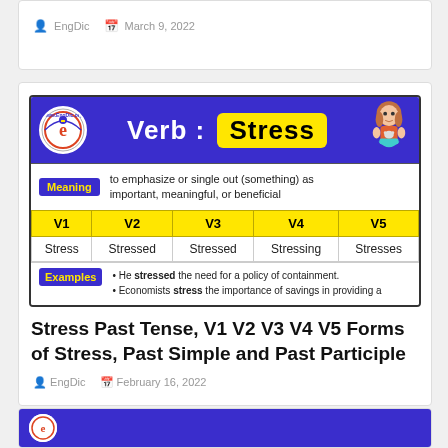EngDic  March 9, 2022
[Figure (infographic): Infographic for Verb: Stress showing meaning, V1 V2 V3 V4 V5 forms, and examples. Header: Verb: Stress. Meaning: to emphasize or single out (something) as important, meaningful, or beneficial. V1: Stress, V2: Stressed, V3: Stressed, V4: Stressing, V5: Stresses. Examples: He stressed the need for a policy of containment. Economists stress the importance of savings in providing a]
Stress Past Tense, V1 V2 V3 V4 V5 Forms of Stress, Past Simple and Past Participle
EngDic  February 16, 2022